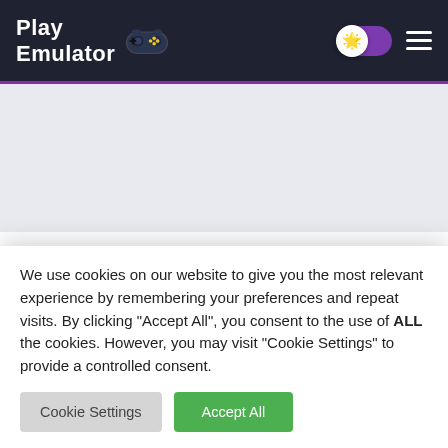Play Emulator
[Figure (screenshot): Gray advertisement placeholder area]
RELATED APPS
[Figure (screenshot): Row of related app thumbnails showing colorful game cover images]
We use cookies on our website to give you the most relevant experience by remembering your preferences and repeat visits. By clicking "Accept All", you consent to the use of ALL the cookies. However, you may visit "Cookie Settings" to provide a controlled consent.
Cookie Settings | Accept All